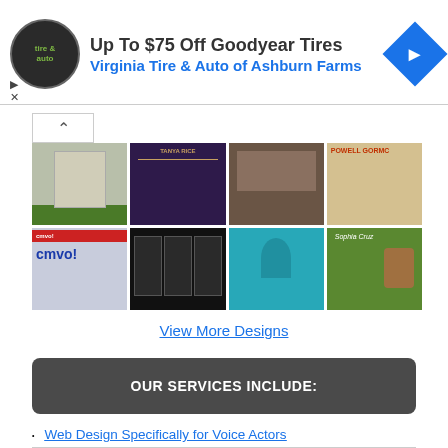[Figure (photo): Advertisement banner for Virginia Tire & Auto of Ashburn Farms offering Up To $75 Off Goodyear Tires, with circular logo and blue diamond arrow icon]
[Figure (photo): Grid of 8 website design thumbnails showing various web designs for voice actors and related services, arranged in 2 rows of 4]
View More Designs
OUR SERVICES INCLUDE:
Web Design Specifically for Voice Actors
Mobile Friendly Responsive Sites and Blogs
Content Management Systems